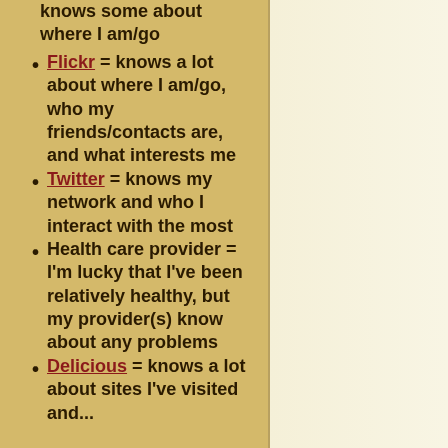knows some about where I am/go
Flickr = knows a lot about where I am/go, who my friends/contacts are, and what interests me
Twitter = knows my network and who I interact with the most
Health care provider = I'm lucky that I've been relatively healthy, but my provider(s) know about any problems
Delicious = knows a lot about sites I've visited and...